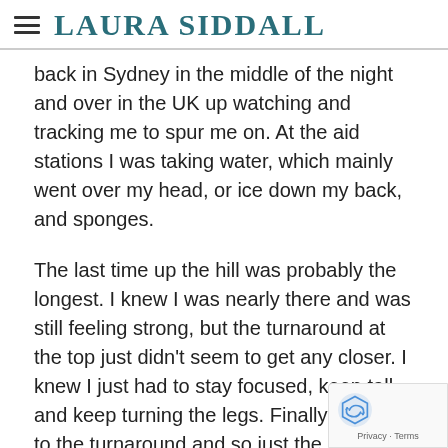≡ LAURA SIDDALL
back in Sydney in the middle of the night and over in the UK up watching and tracking me to spur me on. At the aid stations I was taking water, which mainly went over my head, or ice down my back, and sponges.
The last time up the hill was probably the longest. I knew I was nearly there and was still feeling strong, but the turnaround at the top just didn't seem to get any closer. I knew I just had to stay focused, keep tall and keep turning the legs. Finally getting to the turnaround and so just the mile down hill to the finish, again for some reason it seemed to go on